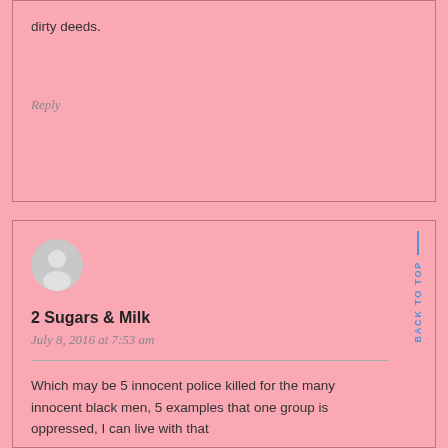dirty deeds.
Reply
[Figure (illustration): User avatar circle with generic person silhouette icon in gray]
2 Sugars & Milk
July 8, 2016 at 7:53 am
Which may be 5 innocent police killed for the many innocent black men, 5 examples that one group is oppressed, I can live with that
Reply